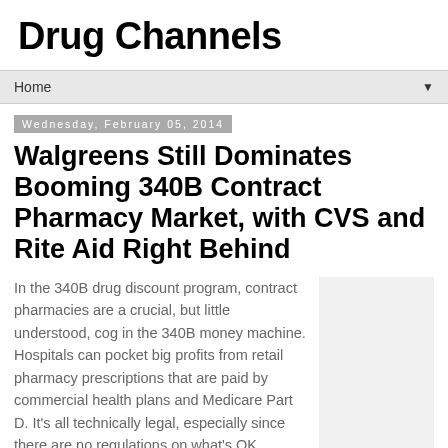Drug Channels
Home
Wednesday, February 05, 2014
Walgreens Still Dominates Booming 340B Contract Pharmacy Market, with CVS and Rite Aid Right Behind
In the 340B drug discount program, contract pharmacies are a crucial, but little understood, cog in the 340B money machine. Hospitals can pocket big profits from retail pharmacy prescriptions that are paid by commercial health plans and Medicare Part D. It's all technically legal, especially since there are no regulations on what's OK